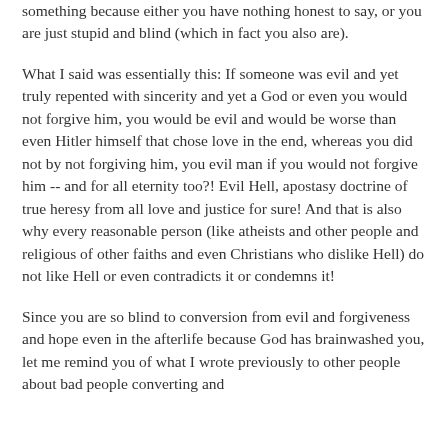something because either you have nothing honest to say, or you are just stupid and blind (which in fact you also are).
What I said was essentially this: If someone was evil and yet truly repented with sincerity and yet a God or even you would not forgive him, you would be evil and would be worse than even Hitler himself that chose love in the end, whereas you did not by not forgiving him, you evil man if you would not forgive him -- and for all eternity too?! Evil Hell, apostasy doctrine of true heresy from all love and justice for sure! And that is also why every reasonable person (like atheists and other people and religious of other faiths and even Christians who dislike Hell) do not like Hell or even contradicts it or condemns it!
Since you are so blind to conversion from evil and forgiveness and hope even in the afterlife because God has brainwashed you, let me remind you of what I wrote previously to other people about bad people converting and